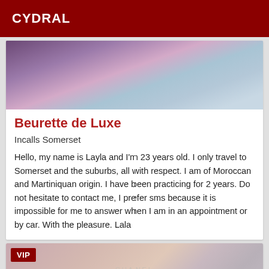CYDRAL
[Figure (photo): Partial view of a person with colorful background in purple and blue tones]
Beurette de Luxe
Incalls Somerset
Hello, my name is Layla and I'm 23 years old. I only travel to Somerset and the suburbs, all with respect. I am of Moroccan and Martiniquan origin. I have been practicing for 2 years. Do not hesitate to contact me, I prefer sms because it is impossible for me to answer when I am in an appointment or by car. With the pleasure. Lala
[Figure (photo): Partial view of a person wearing pink clothing with a Chanel necklace, labeled VIP]